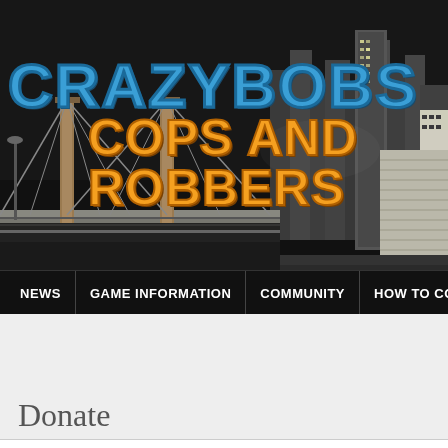[Figure (screenshot): Website header banner for CrazyBobs Cops and Robbers game server, showing a dark night city skyline with a suspension bridge, tall buildings, and the game logo in blue and orange blocky text]
NEWS | GAME INFORMATION | COMMUNITY | HOW TO CO...
Donate